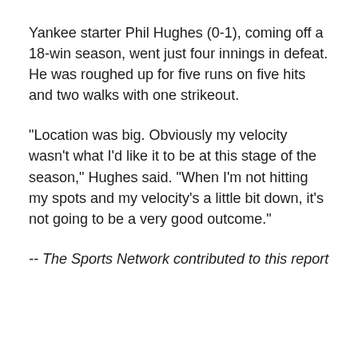Yankee starter Phil Hughes (0-1), coming off a 18-win season, went just four innings in defeat. He was roughed up for five runs on five hits and two walks with one strikeout.
"Location was big. Obviously my velocity wasn't what I'd like it to be at this stage of the season," Hughes said. "When I'm not hitting my spots and my velocity's a little bit down, it's not going to be a very good outcome."
-- The Sports Network contributed to this report